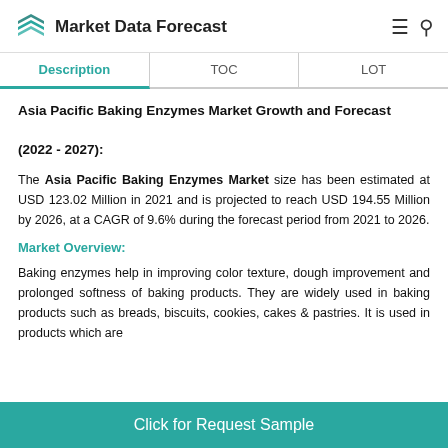Market Data Forecast
Description | TOC | LOT
Asia Pacific Baking Enzymes Market Growth and Forecast (2022 - 2027):
The Asia Pacific Baking Enzymes Market size has been estimated at USD 123.02 Million in 2021 and is projected to reach USD 194.55 Million by 2026, at a CAGR of 9.6% during the forecast period from 2021 to 2026.
Market Overview:
Baking enzymes help in improving color texture, dough improvement and prolonged softness of baking products. They are widely used in baking products such as breads, biscuits, cookies, cakes & pastries. It is used in products which are
Click for Request Sample